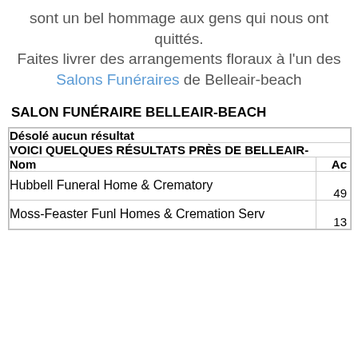sont un bel hommage aux gens qui nous ont quittés.
Faites livrer des arrangements floraux à l'un des Salons Funéraires de Belleair-beach
SALON FUNÉRAIRE BELLEAIR-BEACH
| Nom | Ac |
| --- | --- |
| Désolé aucun résultat |  |
| VOICI QUELQUES RÉSULTATS PRÈS DE BELLEAIR- |  |
| Nom | Ac |
| Hubbell Funeral Home & Crematory | 49 |
| Moss-Feaster Funl Homes & Cremation Serv | 13 |